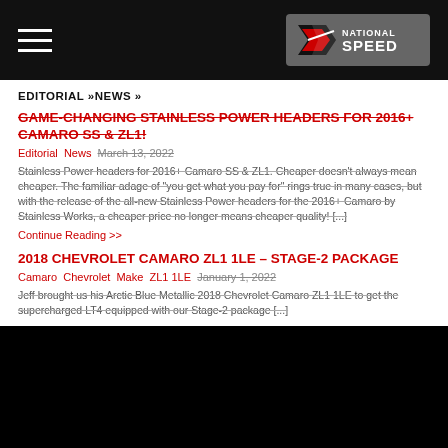National Speed — Navigation header with hamburger menu and logo
EDITORIAL »NEWS »
GAME-CHANGING STAINLESS POWER HEADERS FOR 2016+ CAMARO SS & ZL1!
Editorial  News  March 13, 2022
Stainless Power headers for 2016+ Camaro SS & ZL1. Cheaper doesn't always mean cheaper. The familiar adage of "you get what you pay for" rings true in many cases, but with the release of the all-new Stainless Power headers for the 2016+ Camaro by Stainless Works, a cheaper price no longer means cheaper quality! [...]
Continue Reading >>
2018 CHEVROLET CAMARO ZL1 1LE – STAGE-2 PACKAGE
Camaro  Chevrolet  Make  ZL1 1LE  January 1, 2022
Jeff brought us his Arctic Blue Metallic 2018 Chevrolet Camaro ZL1 1LE to get the supercharged LT4 equipped with our Stage-2 package [...]